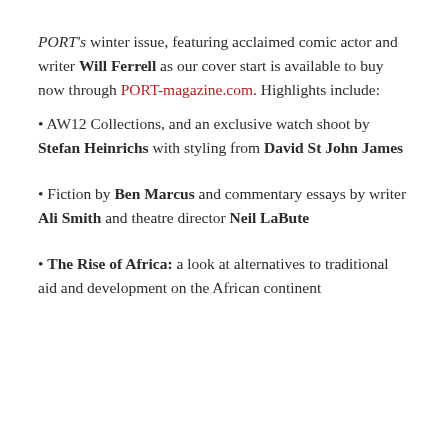PORT's winter issue, featuring acclaimed comic actor and writer Will Ferrell as our cover start is available to buy now through PORT-magazine.com. Highlights include:
• AW12 Collections, and an exclusive watch shoot by Stefan Heinrichs with styling from David St John James
• Fiction by Ben Marcus and commentary essays by writer Ali Smith and theatre director Neil LaBute
• The Rise of Africa: a look at alternatives to traditional aid and development on the African continent